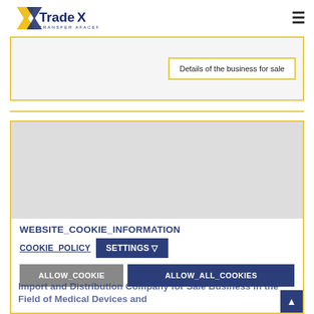[Figure (logo): TradeX TRANSFER AFACERI logo with yellow arrow/chevron and dark blue text]
Details of the business for sale
[Figure (photo): Gray image placeholder inside bordered card]
WEBSITE_COOKIE_INFORMATION
COOKIE_POLICY
SETTINGS ▽
ALLOW_COOKIE
ALLOW_ALL_COOKIES
Import and Distribution Company for Sale Business in the Field of Medical Devices and